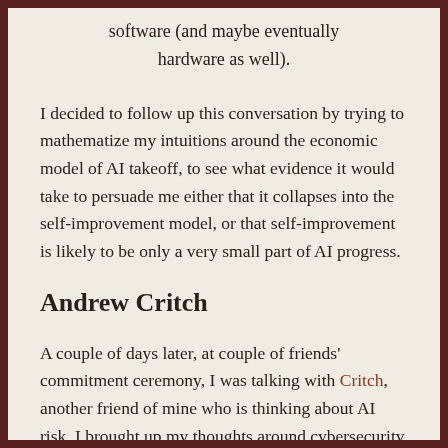software (and maybe eventually hardware as well).
I decided to follow up this conversation by trying to mathematize my intuitions around the economic model of AI takeoff, to see what evidence it would take to persuade me either that it collapses into the self-improvement model, or that self-improvement is likely to be only a very small part of AI progress.
Andrew Critch
A couple of days later, at couple of friends’ commitment ceremony, I was talking with Critch, another friend of mine who is thinking about AI risk. I brought up my thoughts around cybersecurity as an important part of takeoff dynamics, and how they related with both the